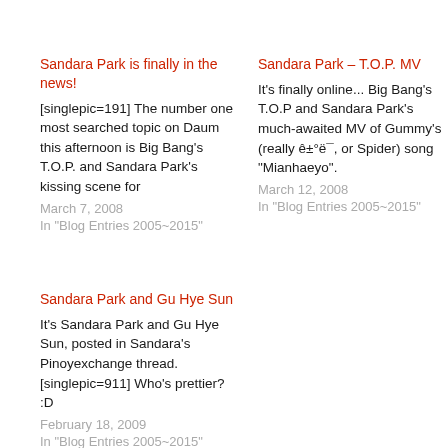Sandara Park is finally in the news!
[singlepic=191] The number one most searched topic on Daum this afternoon is Big Bang's T.O.P. and Sandara Park's kissing scene for
March 7, 2008
In "Blog Entries 2005~2015"
Sandara Park – T.O.P. MV
It's finally online... Big Bang's T.O.P and Sandara Park's much-awaited MV of Gummy's (really ê±°ë¯, or Spider) song "Mianhaeyo".
March 12, 2008
In "Blog Entries 2005~2015"
Sandara Park and Gu Hye Sun
It's Sandara Park and Gu Hye Sun, posted in Sandara's Pinoyexchange thread. [singlepic=911] Who's prettier? :D
February 18, 2009
In "Blog Entries 2005~2015"